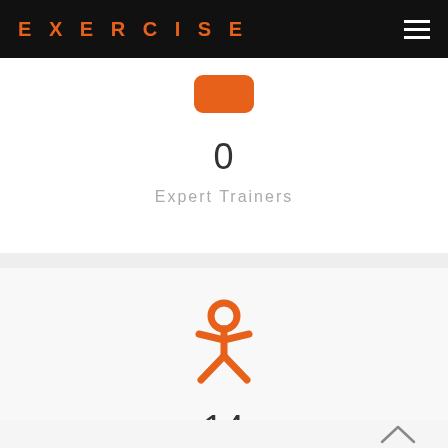EXERCISE
[Figure (illustration): Orange rounded rectangle icon representing expert trainers]
0
Expert Trainers
[Figure (illustration): Orange person/student icon (Odnoklassniki-style figure with circle head and spread arms/legs)]
14
Happy Students